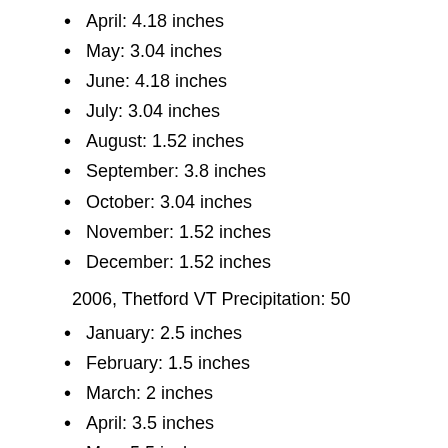April: 4.18 inches
May: 3.04 inches
June: 4.18 inches
July: 3.04 inches
August: 1.52 inches
September: 3.8 inches
October: 3.04 inches
November: 1.52 inches
December: 1.52 inches
2006, Thetford VT Precipitation: 50
January: 2.5 inches
February: 1.5 inches
March: 2 inches
April: 3.5 inches
May: 5.5 inches
June: 5.5 inches
July: 5.5 inches
August: 2 inches